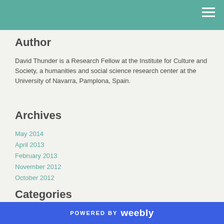Author
David Thunder is a Research Fellow at the Institute for Culture and Society, a humanities and social science research center at the University of Navarra, Pamplona, Spain.
Archives
May 2014
April 2013
February 2013
November 2012
October 2012
Categories
POWERED BY weebly